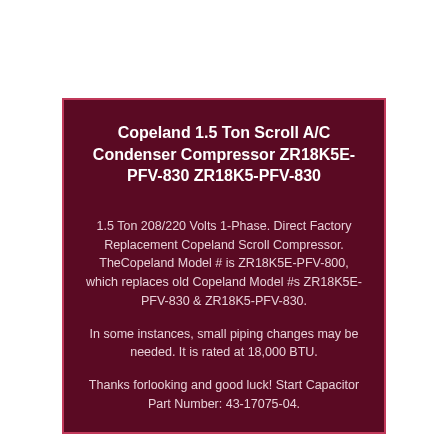Copeland 1.5 Ton Scroll A/C Condenser Compressor ZR18K5E-PFV-830 ZR18K5-PFV-830
1.5 Ton 208/220 Volts 1-Phase. Direct Factory Replacement Copeland Scroll Compressor. TheCopeland Model # is ZR18K5E-PFV-800, which replaces old Copeland Model #s ZR18K5E-PFV-830 & ZR18K5-PFV-830.
In some instances, small piping changes may be needed. It is rated at 18,000 BTU.
Thanks forlooking and good luck! Start Capacitor Part Number: 43-17075-04.